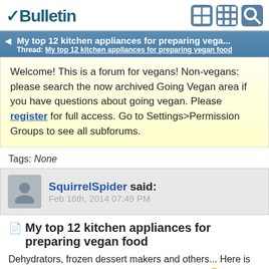vBulletin
My top 12 kitchen appliances for preparing vega... | Thread: My top 12 kitchen appliances for preparing vegan food
Welcome! This is a forum for vegans! Non-vegans: please search the now archived Going Vegan area if you have questions about going vegan. Please register for full access. Go to Settings>Permission Groups to see all subforums.
Tags: None
SquirrelSpider said:
Feb 16th, 2014 07:49 PM
My top 12 kitchen appliances for preparing vegan food
Dehydrators, frozen dessert makers and others... Here is my list - please post yours, your comments etc 🙂